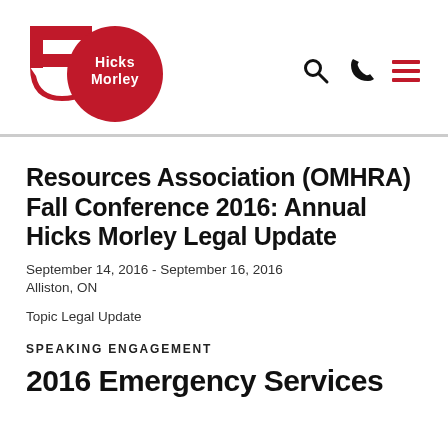[Figure (logo): Hicks Morley 50th anniversary logo — red circle with '50' numeral and 'Hicks Morley' text in white]
Resources Association (OMHRA) Fall Conference 2016: Annual Hicks Morley Legal Update
September 14, 2016 - September 16, 2016
Alliston, ON
Topic Legal Update
SPEAKING ENGAGEMENT
2016 Emergency Services